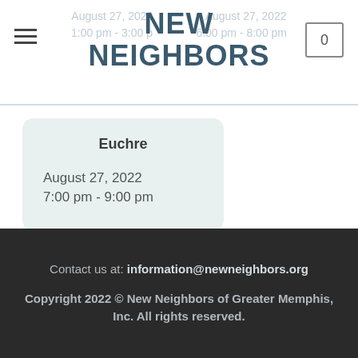NEW NEIGHBORS
Euchre
August 27, 2022
7:00 pm - 9:00 pm
Contact us at: information@newneighbors.org
Copyright 2022 © New Neighbors of Greater Memphis, Inc. All rights reserved.